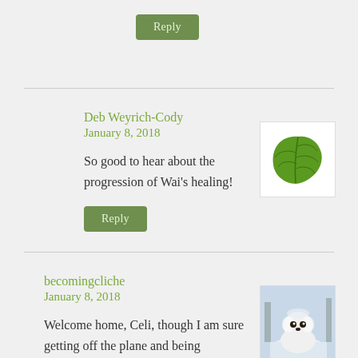Reply
Deb Weyrich-Cody
January 8, 2018
[Figure (illustration): Green leaf avatar image on white background]
So good to hear about the progression of Wai's healing!
Reply
becomingcliche
January 8, 2018
[Figure (photo): Photo of a white fluffy dog or animal in snow]
Welcome home, Celi, though I am sure getting off the plane and being smacked in the face with the cold air was not the welcome home you had hoped for!